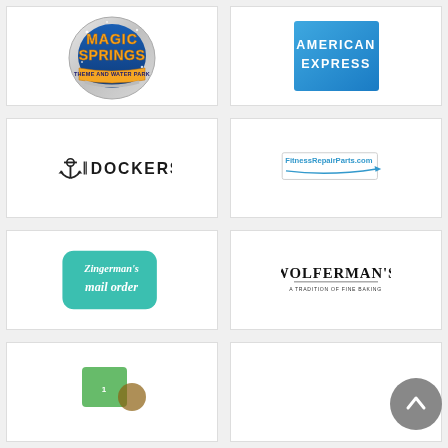[Figure (logo): Magic Springs Theme and Water Park logo - circular silver badge with blue center and yellow/orange text]
[Figure (logo): American Express logo - blue square with white AMERICAN EXPRESS text]
[Figure (logo): Dockers logo - anchor icon with DOCKERS text]
[Figure (logo): FitnessRepairParts.com logo - text with swoosh graphic]
[Figure (logo): Zingerman's Mail Order logo - teal rounded rectangle with white handwritten text]
[Figure (logo): Wolferman's logo - black serif text with tagline A TRADITION OF FINE BAKING]
[Figure (logo): Partial logo bottom left - green and white partial view]
[Figure (logo): Empty cell bottom right]